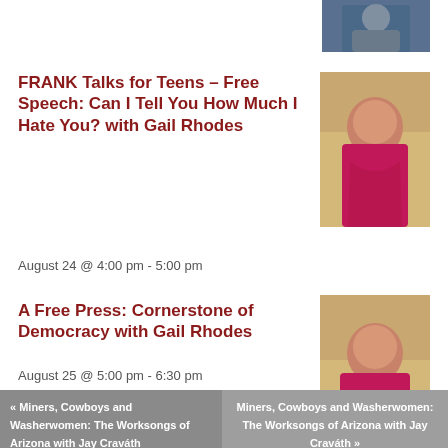[Figure (photo): Partial photo of a person at the top right corner]
FRANK Talks for Teens – Free Speech: Can I Tell You How Much I Hate You? with Gail Rhodes
August 24 @ 4:00 pm - 5:00 pm
[Figure (photo): Photo of Gail Rhodes, a woman in a pink/magenta top with arms crossed, smiling]
A Free Press: Cornerstone of Democracy with Gail Rhodes
August 25 @ 5:00 pm - 6:30 pm
[Figure (photo): Photo of Gail Rhodes, a woman in a pink/magenta top with arms crossed, smiling]
« Miners, Cowboys and Washerwomen: The Worksongs of Arizona with Jay Craváth
Miners, Cowboys and Washerwomen: The Worksongs of Arizona with Jay Craváth »